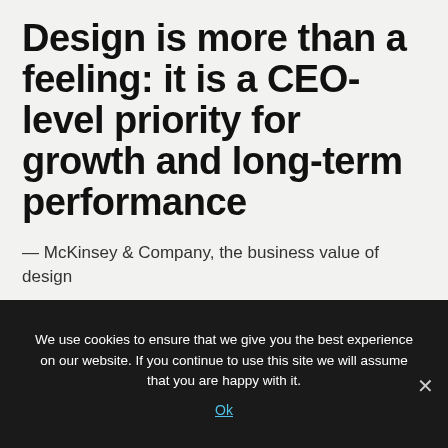Design is more than a feeling: it is a CEO-level priority for growth and long-term performance
— McKinsey & Company, the business value of design
We use cookies to ensure that we give you the best experience on our website. If you continue to use this site we will assume that you are happy with it.
Ok